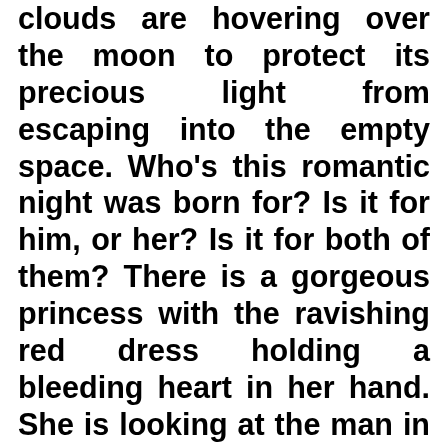clouds are hovering over the moon to protect its precious light from escaping into the empty space. Who's this romantic night was born for? Is it for him, or her? Is it for both of them? There is a gorgeous princess with the ravishing red dress holding a bleeding heart in her hand. She is looking at the man in the cage. Is she smiling? Or crying? But her heels are crying below the cage. Whose heart is she holding in her hand? Is it his heart or her heart? She is standing there and watching him without leaving him out of her sight! Did she put him in the cage? Vines of the plants have tied his hands together that he will not escape out of the cage. Is she controlling the plants to tie him up? She is maybe protecting him by tying him in the cage? The heart is